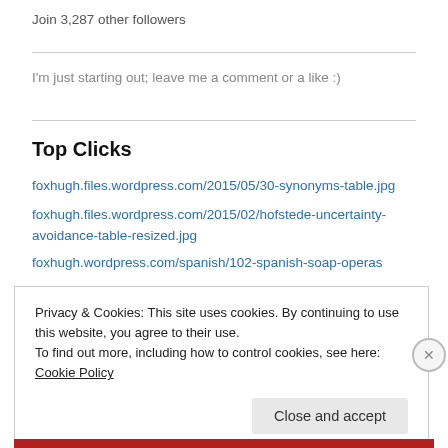Join 3,287 other followers
I'm just starting out; leave me a comment or a like :)
Top Clicks
foxhugh.files.wordpress.com/2015/05/30-synonyms-table.jpg
foxhugh.files.wordpress.com/2015/02/hofstede-uncertainty-avoidance-table-resized.jpg
foxhugh.wordpress.com/spanish/102-spanish-soap-operas
Privacy & Cookies: This site uses cookies. By continuing to use this website, you agree to their use.
To find out more, including how to control cookies, see here: Cookie Policy
Close and accept